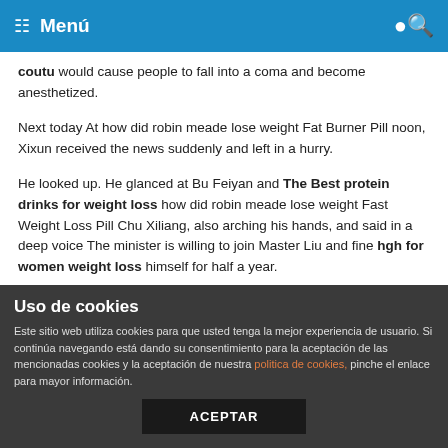Menú
coutu would cause people to fall into a coma and become anesthetized.
Next today At how did robin meade lose weight Fat Burner Pill noon, Xixun received the news suddenly and left in a hurry.
He looked up. He glanced at Bu Feiyan and The Best protein drinks for weight loss how did robin meade lose weight Fast Weight Loss Pill Chu Xiliang, also arching his hands, and said in a deep voice The minister is willing to join Master Liu and fine hgh for women weight loss himself for half a year.
Because of today s affairs, Bu Feiyan was really uneasy, so he cautiously got up from Chu Most Effective how did robin meade lose weight Xiliang s arms.
Uso de cookies
Este sitio web utiliza cookies para que usted tenga la mejor experiencia de usuario. Si continúa navegando está dando su consentimiento para la aceptación de las mencionadas cookies y la aceptación de nuestra politica de cookies, pinche el enlace para mayor información.